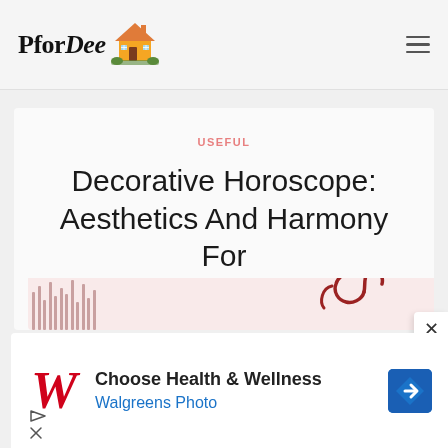PforDee [logo with house icon]
USEFUL
Decorative Horoscope: Aesthetics And Harmony For Libra
[Figure (photo): Partial decorative image showing vertical pink/mauve lines on the left and a dark red decorative Libra symbol on the right, on a light pink background]
[Figure (screenshot): Advertisement banner: Walgreens italic W logo in red, text 'Choose Health & Wellness' and 'Walgreens Photo' in blue, blue diamond arrow icon on the right, with play and close controls at bottom left]